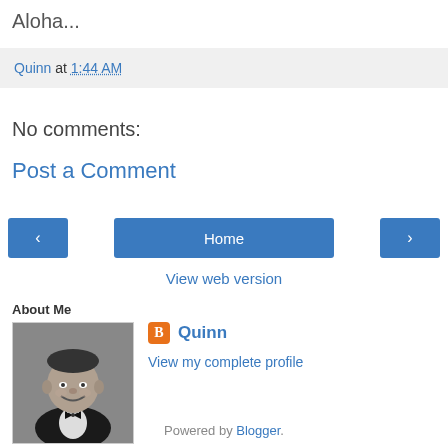Aloha...
Quinn at 1:44 AM
No comments:
Post a Comment
[Figure (other): Navigation bar with left arrow button, Home button, and right arrow button]
View web version
About Me
[Figure (photo): Black and white portrait photo of a man in a tuxedo smiling]
Quinn
View my complete profile
Powered by Blogger.